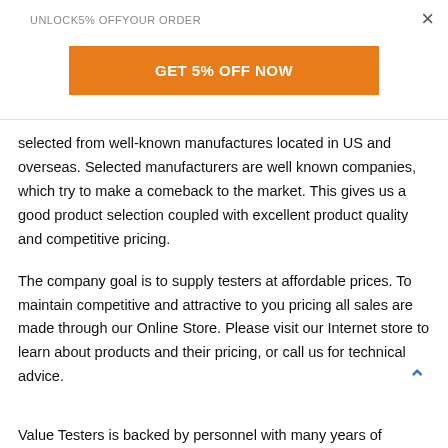UNLOCK5% OFFYOUR ORDER
×
GET 5% OFF NOW
selected from well-known manufactures located in US and overseas. Selected manufacturers are well known companies, which try to make a comeback to the market. This gives us a good product selection coupled with excellent product quality and competitive pricing.
The company goal is to supply testers at affordable prices. To maintain competitive and attractive to you pricing all sales are made through our Online Store. Please visit our Internet store to learn about products and their pricing, or call us for technical advice.
Value Testers is backed by personnel with many years of